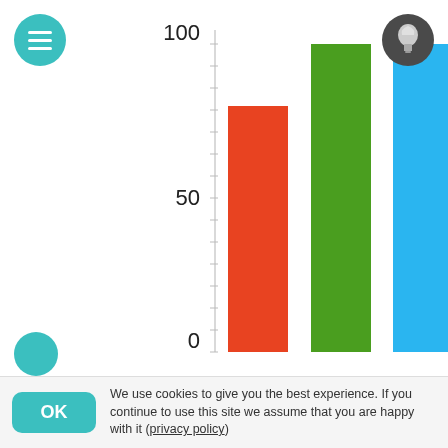[Figure (bar-chart): CMYK]
CMYK
We use cookies to give you the best experience. If you continue to use this site we assume that you are happy with it (privacy policy)